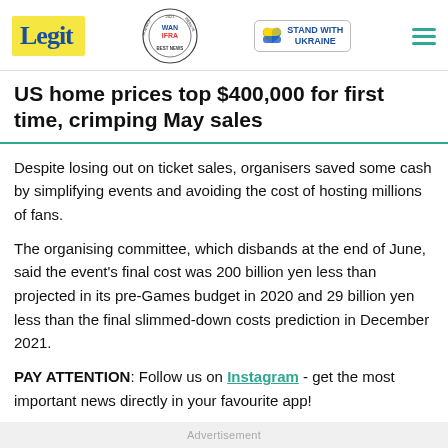Legit | WAN IFRA 2021 Best News Website in Africa | Stand with Ukraine
US home prices top $400,000 for first time, crimping May sales
Despite losing out on ticket sales, organisers saved some cash by simplifying events and avoiding the cost of hosting millions of fans.
The organising committee, which disbands at the end of June, said the event's final cost was 200 billion yen less than projected in its pre-Games budget in 2020 and 29 billion yen less than the final slimmed-down costs prediction in December 2021.
PAY ATTENTION: Follow us on Instagram - get the most important news directly in your favourite app!
Advertisement